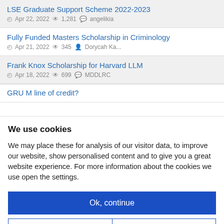LSE Graduate Support Scheme 2022-2023
Apr 22, 2022  1,281  angelikia
Fully Funded Masters Scholarship in Criminology
Apr 21, 2022  345  Dorycah Ka...
Frank Knox Scholarship for Harvard LLM
Apr 18, 2022  699  MDDLRC
GRU M line of credit?
We use cookies
We may place these for analysis of our visitor data, to improve our website, show personalised content and to give you a great website experience. For more information about the cookies we use open the settings.
Ok, continue
Deny
No, adjust